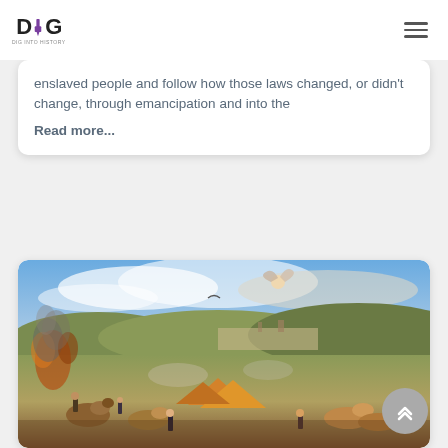DIG - History Magazine logo and navigation
enslaved people and follow how those laws changed, or didn't change, through emancipation and into the
Read more...
[Figure (photo): A large panoramic oil painting depicting a historical battle scene with cavalry, soldiers, tents, fire and smoke, angels in the sky, and a city in the background.]